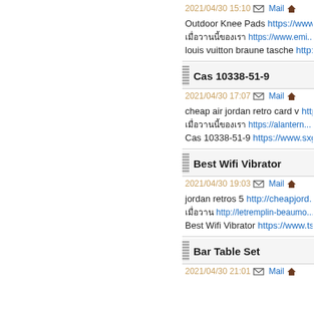2021/04/30 15:10  Mail  [home]
Outdoor Knee Pads https://www...
[thai] https://www.emi...
louis vuitton braune tasche http:...
Cas 10338-51-9
2021/04/30 17:07  Mail  [home]
cheap air jordan retro card v http...
[thai] https://alantern...
Cas 10338-51-9 https://www.sxg...
Best Wifi Vibrator
2021/04/30 19:03  Mail  [home]
jordan retros 5 http://cheapjord...
[thai] http://letremplin-beaumo...
Best Wifi Vibrator https://www.ts...
Bar Table Set
2021/04/30 21:01  Mail  [home]